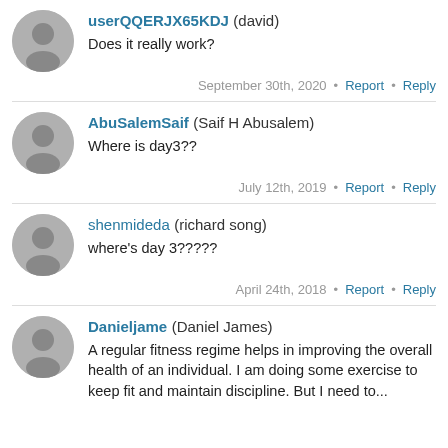userQQERJX65KDJ (david)
Does it really work?
September 30th, 2020 • Report • Reply
AbuSalemSaif (Saif H Abusalem)
Where is day3??
July 12th, 2019 • Report • Reply
shenmideda (richard song)
where's day 3?????
April 24th, 2018 • Report • Reply
Danieljame (Daniel James)
A regular fitness regime helps in improving the overall health of an individual. I am doing some exercise to keep fit and maintain discipline. But I need to...